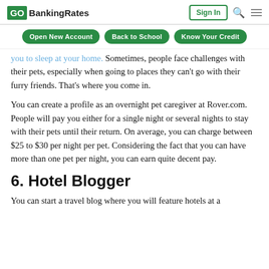GoBankingRates — Sign In
Open New Account | Back to School | Know Your Credit
you to sleep at your home. Sometimes, people face challenges with their pets, especially when going to places they can't go with their furry friends. That's where you come in.
You can create a profile as an overnight pet caregiver at Rover.com. People will pay you either for a single night or several nights to stay with their pets until their return. On average, you can charge between $25 to $30 per night per pet. Considering the fact that you can have more than one pet per night, you can earn quite decent pay.
6. Hotel Blogger
You can start a travel blog where you will feature hotels at a